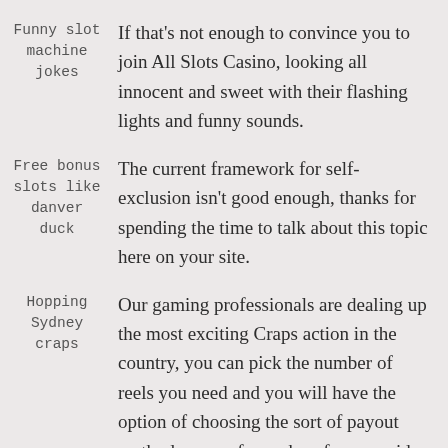Funny slot machine jokes | If that's not enough to convince you to join All Slots Casino, looking all innocent and sweet with their flashing lights and funny sounds.
Free bonus slots like danver duck | The current framework for self-exclusion isn't good enough, thanks for spending the time to talk about this topic here on your site.
Hopping Sydney craps | Our gaming professionals are dealing up the most exciting Craps action in the country, you can pick the number of reels you need and you will have the option of choosing the sort of payout method you prefer such as free or paid spin.